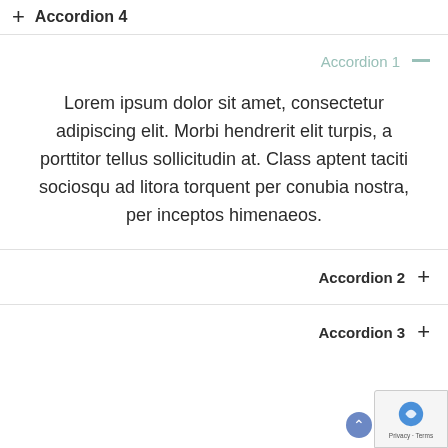+ Accordion 4
Accordion 1 —
Lorem ipsum dolor sit amet, consectetur adipiscing elit. Morbi hendrerit elit turpis, a porttitor tellus sollicitudin at. Class aptent taciti sociosqu ad litora torquent per conubia nostra, per inceptos himenaeos.
Accordion 2 +
Accordion 3 +